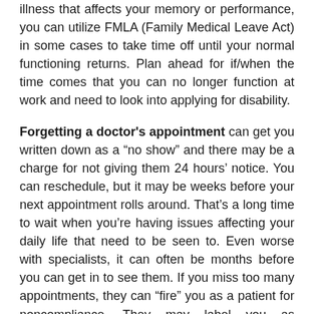illness that affects your memory or performance, you can utilize FMLA (Family Medical Leave Act) in some cases to take time off until your normal functioning returns. Plan ahead for if/when the time comes that you can no longer function at work and need to look into applying for disability.
Forgetting a doctor's appointment can get you written down as a “no show” and there may be a charge for not giving them 24 hours’ notice. You can reschedule, but it may be weeks before your next appointment rolls around. That’s a long time to wait when you’re having issues affecting your daily life that need to be seen to. Even worse with specialists, it can often be months before you can get in to see them. If you miss too many appointments, they can “fire” you as a patient for noncompliance. They may label you as noncompliant for other reasons as well, such as forgetting to take your medication as prescribed. Maybe you accidentally take it too often because you forgot you already took it earlier. Maybe you forget to take it at all because you can’t remember if you already did or not. Maybe you forget to refill your prescriptions on time so you’re not able to take them for a few days until you can get to the pharmacy. When you give vague answers to your medical providers, it raises a red flag in their